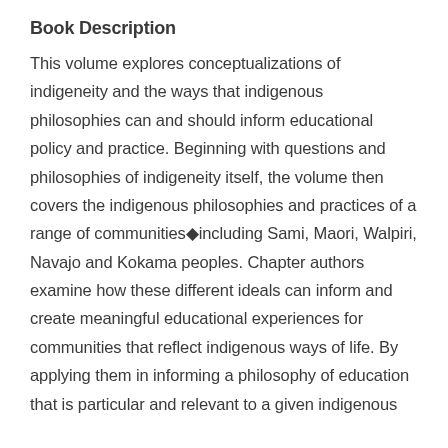Book Description
This volume explores conceptualizations of indigeneity and the ways that indigenous philosophies can and should inform educational policy and practice. Beginning with questions and philosophies of indigeneity itself, the volume then covers the indigenous philosophies and practices of a range of communities◆including Sami, Maori, Walpiri, Navajo and Kokama peoples. Chapter authors examine how these different ideals can inform and create meaningful educational experiences for communities that reflect indigenous ways of life. By applying them in informing a philosophy of education that is particular and relevant to a given indigenous